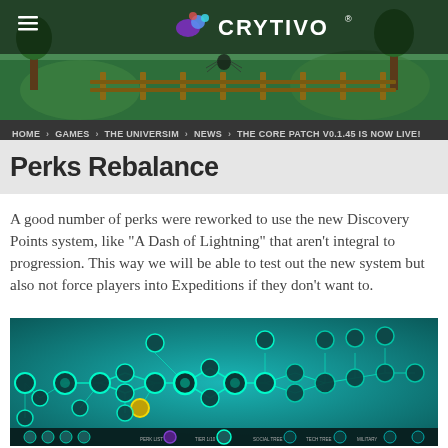[Figure (screenshot): Crytivo website header with game screenshot background showing green landscape, and the Crytivo logo with chameleon icon in white text]
HOME > GAMES > THE UNIVERSIM > NEWS > THE CORE PATCH V0.1.45 IS NOW LIVE!
Perks Rebalance
A good number of perks were reworked to use the new Discovery Points system, like "A Dash of Lightning" that aren't integral to progression. This way we will be able to test out the new system but also not force players into Expeditions if they don't want to.
[Figure (screenshot): In-game screenshot of The Universim perks/technology tree interface showing a teal-colored node graph with circular perk icons connected by glowing cyan lines on a dark teal background, with bottom navigation bar]